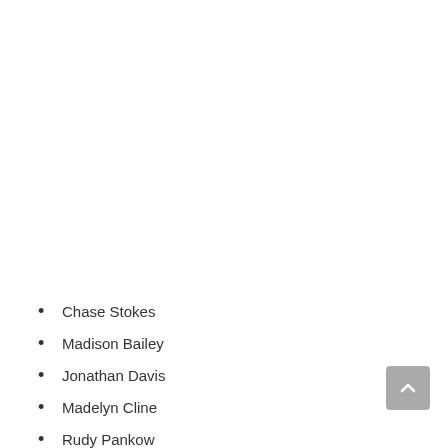Chase Stokes
Madison Bailey
Jonathan Davis
Madelyn Cline
Rudy Pankow